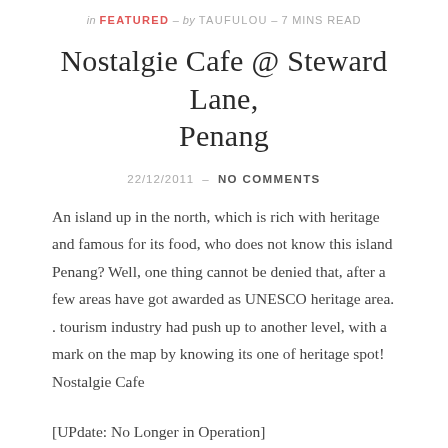in FEATURED - by TAUFULOU - 7 MINS READ
Nostalgie Cafe @ Steward Lane, Penang
22/12/2011  -  NO COMMENTS
An island up in the north, which is rich with heritage and famous for its food, who does not know this island Penang? Well, one thing cannot be denied that, after a few areas have got awarded as UNESCO heritage area. . tourism industry had push up to another level, with a mark on the map by knowing its one of heritage spot! Nostalgie Cafe
[UPdate: No Longer in Operation]